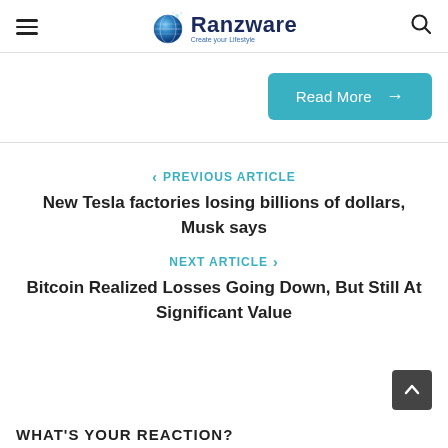Ranzware – Create your Lifestyle
Read More →
‹ PREVIOUS ARTICLE
New Tesla factories losing billions of dollars, Musk says
NEXT ARTICLE ›
Bitcoin Realized Losses Going Down, But Still At Significant Value
WHAT'S YOUR REACTION?